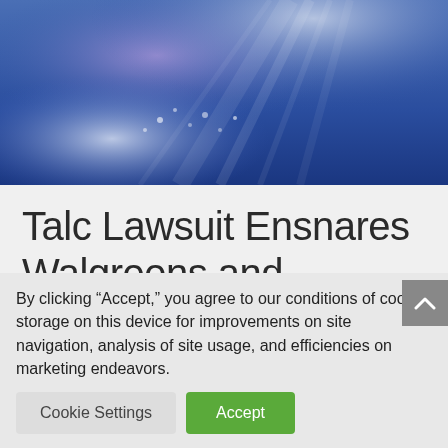[Figure (photo): Abstract blue underwater or sky light rays background image with purple and white light effects]
Talc Lawsuit Ensnares Walgreens and Johnson & Johnson
Mar 7, 2017 | Talc, Toxic Tort
By clicking “Accept,” you agree to our conditions of cookie storage on this device for improvements on site navigation, analysis of site usage, and efficiencies on marketing endeavors.
Cookie Settings | Accept